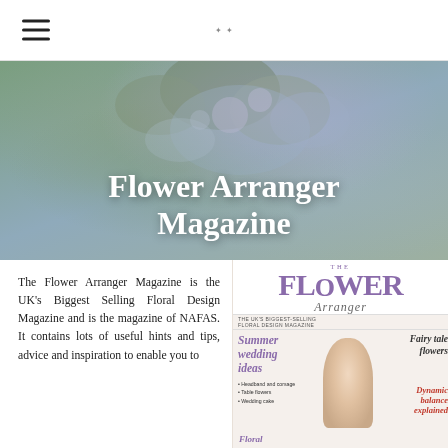Flower Arranger Magazine — site navigation header
[Figure (photo): Hero background photo of flower arrangement featuring purple/lavender and green flowers, blurred bokeh effect]
Flower Arranger Magazine
The Flower Arranger Magazine is the UK's Biggest Selling Floral Design Magazine and is the magazine of NAFAS. It contains lots of useful hints and tips, advice and inspiration to enable you to
[Figure (photo): Cover of The Flower Arranger magazine showing title text, Summer wedding ideas feature, Fairy tale flowers, Dynamic balance explained sections, with a floral arrangement photo]